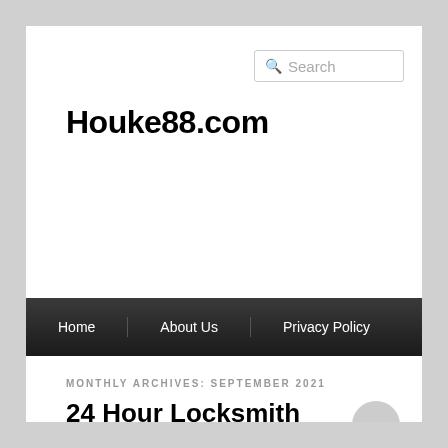Search
Houke88.com
Home   About Us   Privacy Policy
MONTHLY ARCHIVES: SEPTEMBER 2021
24 Hour Locksmith